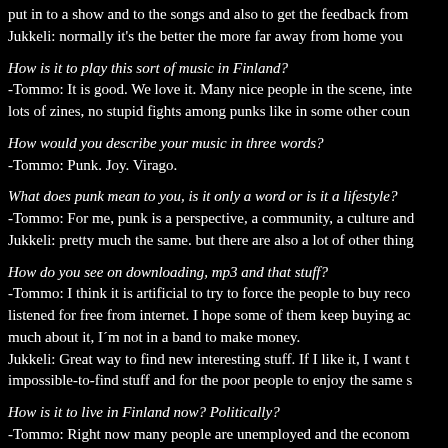put in to a show and to the songs and also to get the feedback from...
Jukkeli: normally it's the better the more far away from home you...
How is it to play this sort of music in Finland?
-Tommo: It is good. We love it. Many nice people in the scene, inte...
lots of zines, no stupid fights among punks like in some other coun...
How would you describe your music in three words?
-Tommo: Punk. Joy. Virago.
What does punk mean to you, is it only a word or is it a lifestyle?
-Tommo: For me, punk is a perspective, a community, a culture and...
Jukkeli: pretty much the same. but there are also a lot of other thing...
How do you see on downloading, mp3 and that stuff?
-Tommo: I think it is artificial to try to force the people to buy reco...
listened for free from internet. I hope some of them keep buying ac...
much about it, I´m not in a band to make money.
Jukkeli: Great way to find new interesting stuff. If I like it, I want t...
impossible-to-find stuff and for the poor people to enjoy the same s...
How is it to live in Finland now? Politically?
-Tommo: Right now many people are unemployed and the econom...
wing parties are popular, especially Kokoomus is popular among th...
a party for the benefit of small economical elite, but people seem to...